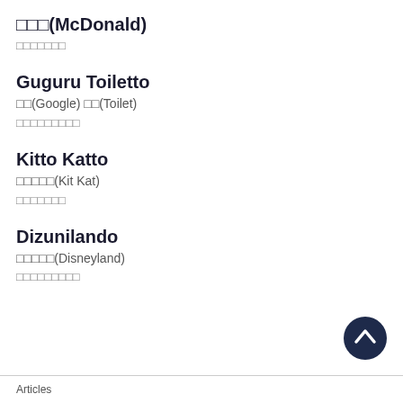□□□(McDonald)
□□□□□□□
Guguru Toiletto
□□(Google) □□(Toilet)
□□□□□□□□□
Kitto Katto
□□□□□(Kit Kat)
□□□□□□□
Dizunilando
□□□□□(Disneyland)
□□□□□□□□□
Articles